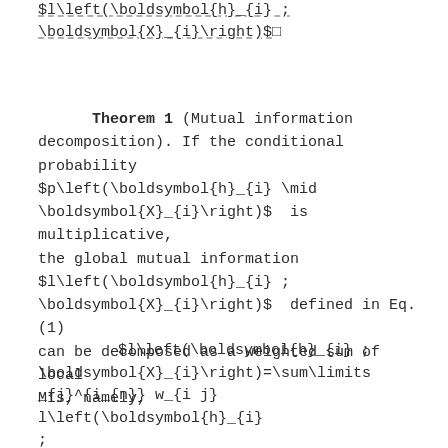Theorem 1 (Mutual information decomposition). If the conditional probability $p\left(\boldsymbol{h}_{i} \mid \boldsymbol{X}_{i}\right)$ is multiplicative, the global mutual information $l\left(\boldsymbol{h}_{i} ; \boldsymbol{X}_{i}\right)$ defined in Eq. (1) can be decomposed as a weighted sum of local MIs, namely,